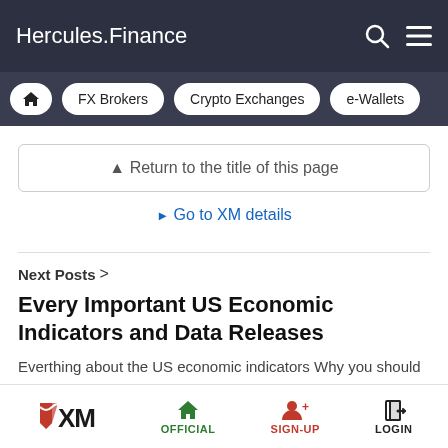Hercules.Finance
FX Brokers  Crypto Exchanges  e-Wallets
▲ Return to the title of this page
▶ Go to XM details
Next Posts >
Every Important US Economic Indicators and Data Releases
Everthing about the US economic indicators Why you should know USD's market trend? Key is the US's Employment Statistics Which
XM  OFFICIAL  SIGN-UP  LOGIN